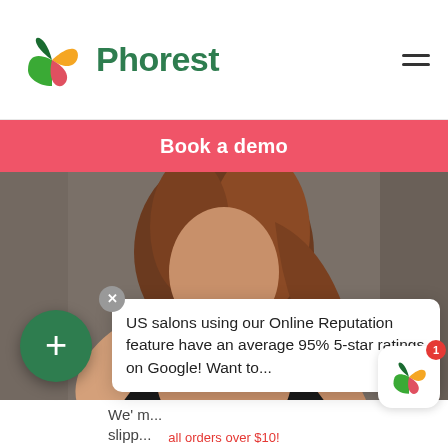Phorest
Book a demo
[Figure (photo): Woman in black top with arms crossed, photographed from mid-torso up, against a gray wall background]
We're... slipp...
US salons using our Online Reputation feature have an average 95% 5-star ratings on Google! Want to...
all orders over $10!